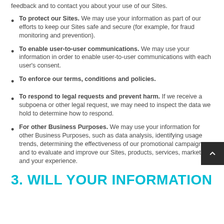feedback and to contact you about your use of our Sites.
To protect our Sites. We may use your information as part of our efforts to keep our Sites safe and secure (for example, for fraud monitoring and prevention).
To enable user-to-user communications. We may use your information in order to enable user-to-user communications with each user's consent.
To enforce our terms, conditions and policies.
To respond to legal requests and prevent harm. If we receive a subpoena or other legal request, we may need to inspect the data we hold to determine how to respond.
For other Business Purposes. We may use your information for other Business Purposes, such as data analysis, identifying usage trends, determining the effectiveness of our promotional campaigns and to evaluate and improve our Sites, products, services, marketing and your experience.
3. WILL YOUR INFORMATION